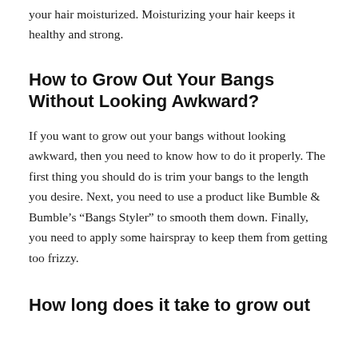your hair moisturized. Moisturizing your hair keeps it healthy and strong.
How to Grow Out Your Bangs Without Looking Awkward?
If you want to grow out your bangs without looking awkward, then you need to know how to do it properly. The first thing you should do is trim your bangs to the length you desire. Next, you need to use a product like Bumble & Bumble's “Bangs Styler” to smooth them down. Finally, you need to apply some hairspray to keep them from getting too frizzy.
How long does it take to grow out